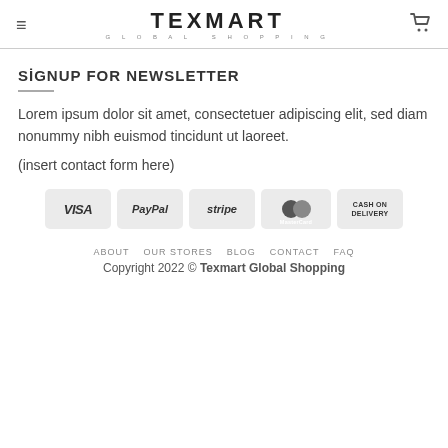TEXMART GLOBAL SHOPPING
SİGNUP FOR NEWSLETTER
Lorem ipsum dolor sit amet, consectetuer adipiscing elit, sed diam nonummy nibh euismod tincidunt ut laoreet.
(insert contact form here)
[Figure (infographic): Payment method badges: VISA, PayPal, stripe, MasterCard, CASH ON DELIVERY]
ABOUT  OUR STORES  BLOG  CONTACT  FAQ
Copyright 2022 © Texmart Global Shopping